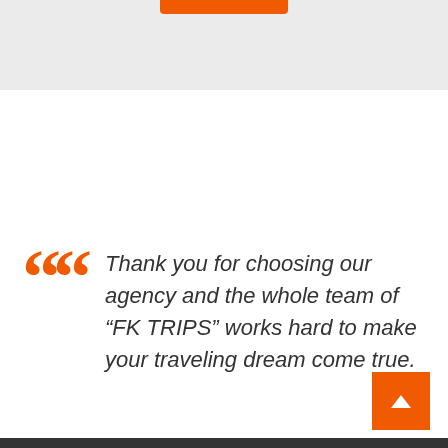[Figure (other): Top light gray band with an orange button/bar at the top center]
““ Thank you for choosing our agency and the whole team of “FK TRIPS” works hard to make your traveling dream come true.